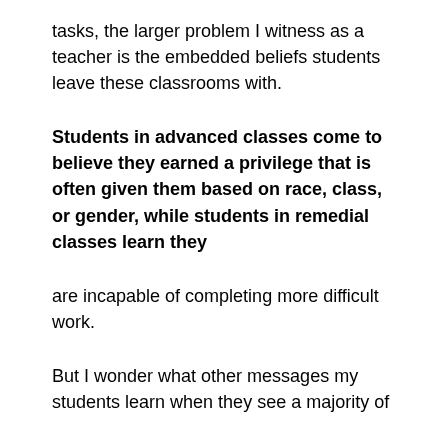tasks, the larger problem I witness as a teacher is the embedded beliefs students leave these classrooms with.
Students in advanced classes come to believe they earned a privilege that is often given them based on race, class, or gender, while students in remedial classes learn they
are incapable of completing more difficult work.
But I wonder what other messages my students learn when they see a majority of